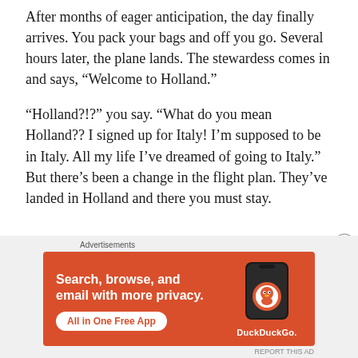After months of eager anticipation, the day finally arrives. You pack your bags and off you go. Several hours later, the plane lands. The stewardess comes in and says, “Welcome to Holland.”
“Holland?!?” you say. “What do you mean Holland?? I signed up for Italy! I’m supposed to be in Italy. All my life I’ve dreamed of going to Italy.” But there’s been a change in the flight plan. They’ve landed in Holland and there you must stay.
[Figure (screenshot): DuckDuckGo advertisement banner with orange background. Text reads: 'Search, browse, and email with more privacy. All in One Free App' with a phone graphic and DuckDuckGo logo.]